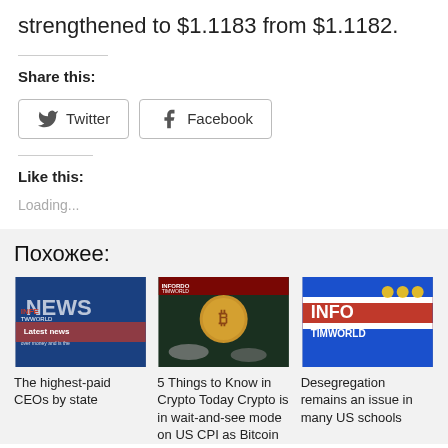strengthened to $1.1183 from $1.1182.
Share this:
Twitter  Facebook
Like this:
Loading...
Похожее:
[Figure (photo): News graphic with 'Latest news' text on blue background]
The highest-paid CEOs by state
[Figure (photo): Bitcoin coin with casino chips on dark background]
5 Things to Know in Crypto Today Crypto is in wait-and-see mode on US CPI as Bitcoin
[Figure (photo): INFO TIMWORLD graphic on blue background]
Desegregation remains an issue in many US schools